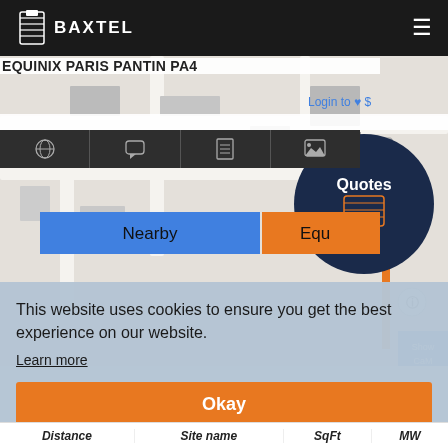BAXTEL
EQUINIX PARIS PANTIN PA4
Login to ♥ $
[Figure (screenshot): Map view with navigation tabs (globe, chat, document, image icons), a dark navy circle with Equinix logo and 'Quotes' label, blue 'Nearby' button, orange 'Equ' button, orange vertical bar, and info button]
This website uses cookies to ensure you get the best experience on our website.
Learn more
Okay
| Distance | Site name | SqFt | MW |
| --- | --- | --- | --- |